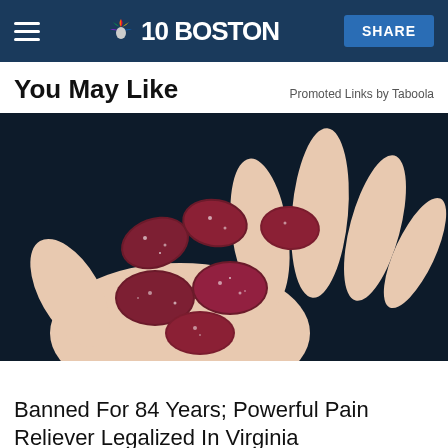NBC10 BOSTON | SHARE
You May Like
Promoted Links by Taboola
[Figure (photo): A hand holding several dark red/maroon sugar-coated gummy candies against a dark background]
Banned For 84 Years; Powerful Pain Reliever Legalized In Virginia